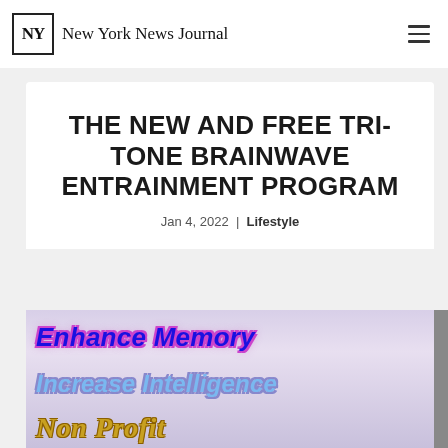NY | New York News Journal
THE NEW AND FREE TRI-TONE BRAINWAVE ENTRAINMENT PROGRAM
Jan 4, 2022 | Lifestyle
[Figure (illustration): Promotional image with bold text reading 'Enhance Memory', 'Increase Intelligence', 'Non Profit' on a light purple/lavender background]